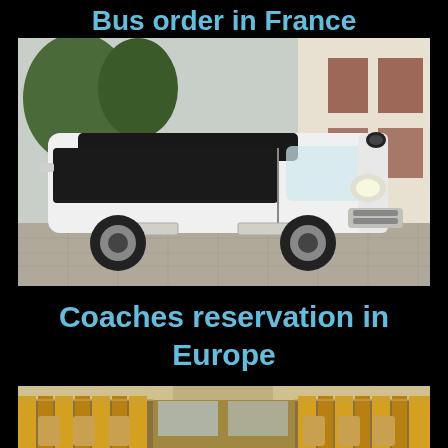Bus order in France
[Figure (photo): White minibus coach parked outside a building with trees in background]
Coaches reservation in Europe
[Figure (photo): Interior of a luxury coach with yellow/gold curtains and seats]